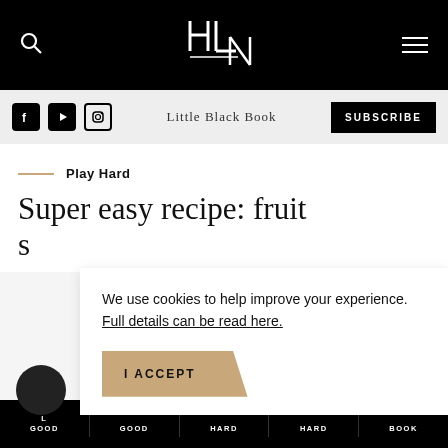HLN navigation bar with search and menu icons
[Figure (logo): HLN logo in white on black background]
Little Black Book
SUBSCRIBE
Play Hard
Super easy recipe: fruit s
We use cookies to help improve your experience. Full details can be read here.
I ACCEPT
L GOOD GOOD HARD HARD BOOK